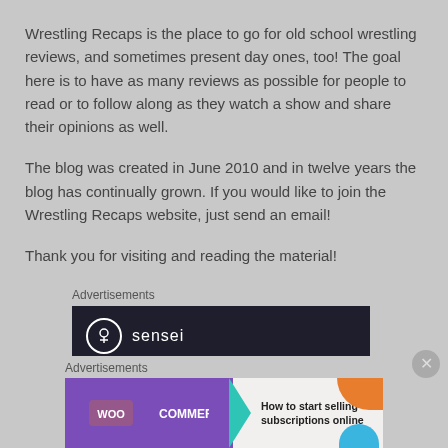Wrestling Recaps is the place to go for old school wrestling reviews, and sometimes present day ones, too! The goal here is to have as many reviews as possible for people to read or to follow along as they watch a show and share their opinions as well.
The blog was created in June 2010 and in twelve years the blog has continually grown. If you would like to join the Wrestling Recaps website, just send an email!
Thank you for visiting and reading the material!
Advertisements
[Figure (screenshot): Sensei advertisement: dark background with Sensei logo (tree in circle) and text 'Launch your online course with WordPress']
Advertisements
[Figure (screenshot): WooCommerce advertisement: purple background with WooCommerce logo, green arrow, and text 'How to start selling subscriptions online']